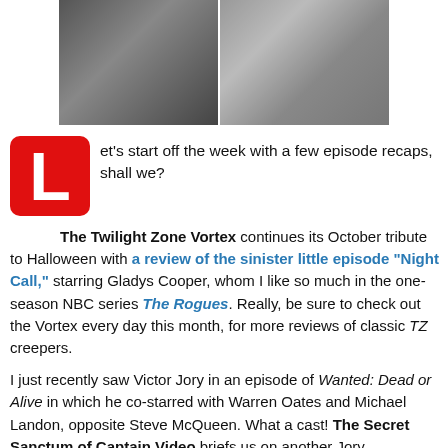[Figure (photo): Two side-by-side photos: left is a black-and-white photo of people outdoors, right is a color photo of a hand holding something near a door.]
et's start off the week with a few episode recaps, shall we?
The Twilight Zone Vortex continues its October tribute to Halloween with a review of the sinister little episode "Night Call," starring Gladys Cooper, whom I like so much in the one-season NBC series The Rogues. Really, be sure to check out the Vortex every day this month, for more reviews of classic TZ creepers.
I just recently saw Victor Jory in an episode of Wanted: Dead or Alive in which he co-starred with Warren Oates and Michael Landon, opposite Steve McQueen. What a cast! The Secret Sanctum of Captain Video briefs us on another Jory appearance, this time in The Green Hornet episode "Frog is a Deadly Weapon."